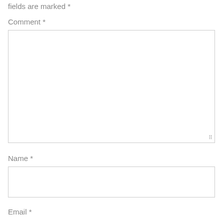fields are marked *
Comment *
[Figure (other): Large empty comment text area input box with resize handle at bottom right]
Name *
[Figure (other): Small empty name text input box]
Email *